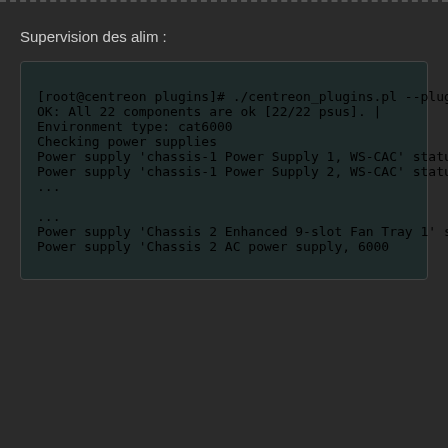Supervision des alim :
[Figure (screenshot): Terminal output showing centreon_plugins.pl command execution with --mode=environment --plugin=network::cisco::standard::snmp::plugin checking power supplies (PSU) via SNMP on SW-HOST. Output shows OK: All 22 components are ok [22/22 psus], Environment type: cat6000, and multiple power supply status entries showing normal/on statuses for chassis-1 and chassis-2 units.]